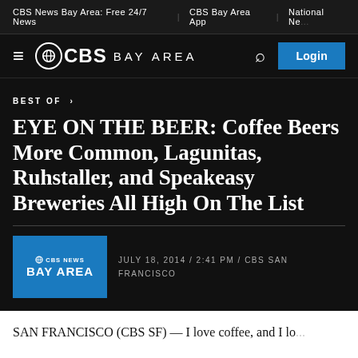CBS News Bay Area: Free 24/7 News | CBS Bay Area App | National Ne...
[Figure (logo): CBS Bay Area logo with hamburger menu and Login button]
BEST OF >
EYE ON THE BEER: Coffee Beers More Common, Lagunitas, Ruhstaller, and Speakeasy Breweries All High On The List
JULY 18, 2014 / 2:41 PM / CBS SAN FRANCISCO
SAN FRANCISCO (CBS SF) — I love coffee, and I lo...